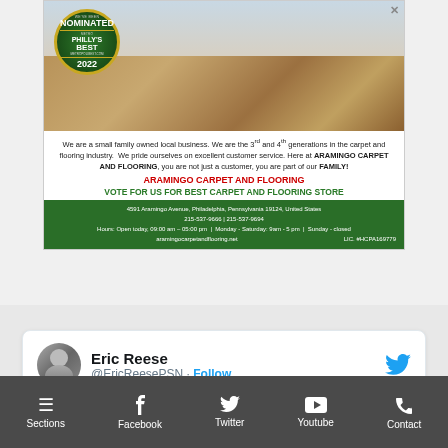[Figure (photo): Advertisement for Aramingo Carpet and Flooring showing a hardwood floor interior with kitchen island, and a Philly's Best 2022 nominated badge]
We are a small family owned local business. We are the 3rd and 4th generations in the carpet and flooring industry. We pride ourselves on excellent customer service. Here at ARAMINGO CARPET AND FLOORING, you are not just a customer, you are part of our FAMILY!
ARAMINGO CARPET AND FLOORING
VOTE FOR US FOR BEST CARPET AND FLOORING STORE
4591 Aramingo Avenue, Philadelphia, Pennsylvania 19124, United States
215-537-9666 | 215-537-9694
Hours: Open today, 09:00 am – 05:00 pm | Monday - Saturday: 9am - 5 pm | Sunday - closed
aramingocarpetandflooring.net    LIC. #HCPA169779
Eric Reese
@EricReesePSN · Follow
Sections  Facebook  Twitter  Youtube  Contact